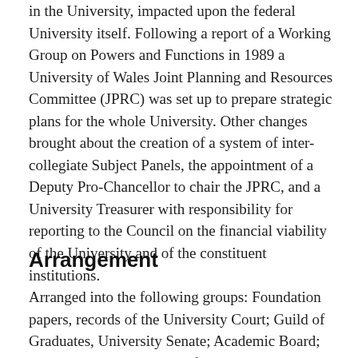in the University, impacted upon the federal University itself. Following a report of a Working Group on Powers and Functions in 1989 a University of Wales Joint Planning and Resources Committee (JPRC) was set up to prepare strategic plans for the whole University. Other changes brought about the creation of a system of inter-collegiate Subject Panels, the appointment of a Deputy Pro-Chancellor to chair the JPRC, and a University Treasurer with responsibility for reporting to the Council on the financial viability of the University and of the constituent institutions.
Arrangement
Arranged into the following groups: Foundation papers, records of the University Court; Guild of Graduates, University Senate; Academic Board; Joint Advisory Committee for Examinations, University [Next]